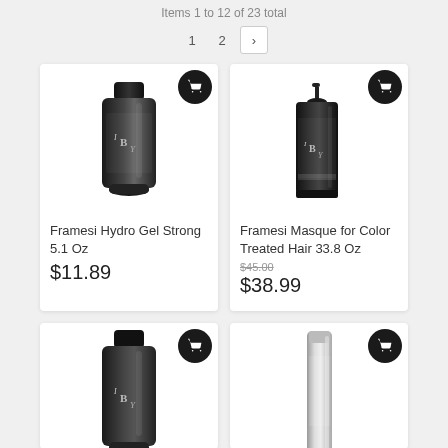Items 1 to 12 of 23 total
1  2  >
[Figure (photo): Framesi Hydro Gel Strong 5.1 Oz product — dark squeeze tube with IBY branding]
Framesi Hydro Gel Strong 5.1 Oz
$11.89
[Figure (photo): Framesi Masque for Color Treated Hair 33.8 Oz product — tall black pump bottle with IBY branding]
Framesi Masque for Color Treated Hair 33.8 Oz
$45.00 (strikethrough), $38.99
[Figure (photo): Framesi product — dark squeeze tube with IBY branding (partially visible, bottom row)]
[Figure (photo): Hair product — silver/metallic slim bottle (partially visible, bottom row)]